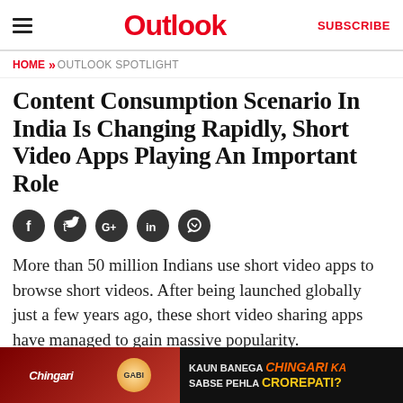Outlook | SUBSCRIBE
HOME >> OUTLOOK SPOTLIGHT
Content Consumption Scenario In India Is Changing Rapidly, Short Video Apps Playing An Important Role
[Figure (other): Social media share icons: Facebook, Twitter, Google+, LinkedIn, WhatsApp]
More than 50 million Indians use short video apps to browse short videos. After being launched globally just a few years ago, these short video sharing apps have managed to gain massive popularity.
[Figure (other): Bottom advertisement banner showing Chingari app promotion: KAUN BANEGA Chingari KA SABSE PEHLA CROREPATI?]